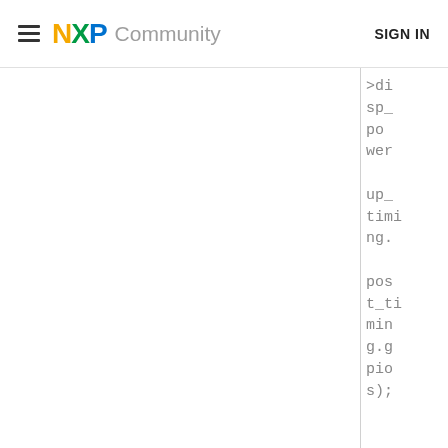NXP Community   SIGN IN
>disp_power_up_timing.post_timing.gpios);